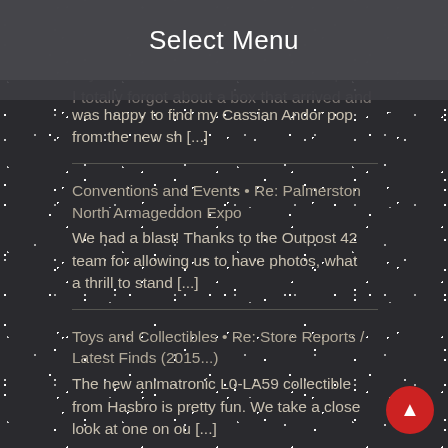Select Menu
Toys and Collectibles • Re: Funko Pop ... I totally forgot about a box that arrived and was happy to find my Cassian Andor pop from the new sh [...]
Conventions and Events • Re: Palmerston North Armageddon Expo
We had a blast! Thanks to the Outpost 42 team for allowing us to have photos, what a thrill to stand [...]
Toys and Collectibles • Re: Store Reports / Latest Finds (2015...)
The new animatronic L0-LA59 collectible from Hasbro is pretty fun. We take a close look at one on ou [...]
Popular Posts
[Figure (photo): Thumbnail image of Star Wars garden ornaments, showing a figure statue in a garden setting]
Star Wars Garden Ornaments
December 10, 2017